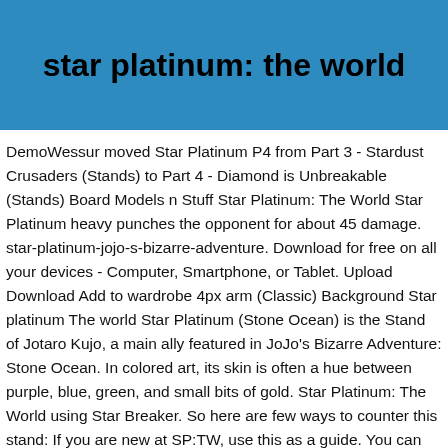star platinum: the world
DemoWessur moved Star Platinum P4 from Part 3 - Stardust Crusaders (Stands) to Part 4 - Diamond is Unbreakable (Stands) Board Models n Stuff Star Platinum: The World Star Platinum heavy punches the opponent for about 45 damage. star-platinum-jojo-s-bizarre-adventure. Download for free on all your devices - Computer, Smartphone, or Tablet. Upload Download Add to wardrobe 4px arm (Classic) Background Star platinum The world Star Platinum (Stone Ocean) is the Stand of Jotaro Kujo, a main ally featured in JoJo's Bizarre Adventure: Stone Ocean. In colored art, its skin is often a hue between purple, blue, green, and small bits of gold. Star Platinum: The World using Star Breaker. So here are few ways to counter this stand: If you are new at SP:TW, use this as a guide. You can use time stop dash while using this move. I think it was implied that Star Platinum had the Time Stop ability